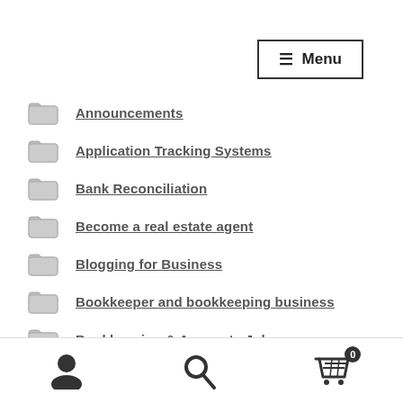[Figure (other): Menu navigation button with hamburger icon in top right corner]
Announcements
Application Tracking Systems
Bank Reconciliation
Become a real estate agent
Blogging for Business
Bookkeeper and bookkeeping business
Bookkeeping & Accounts Jobs
Bookkeeping Academy
Bookkeeping Business Induction
User icon | Search icon | Cart icon with badge 0